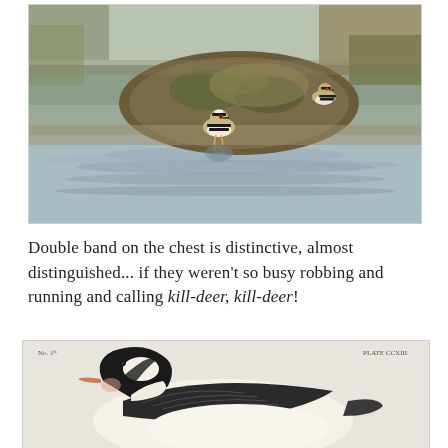[Figure (photo): Two killdeer birds standing near a mossy rock in shallow water with rippled reflections. Mudflat habitat with water and vegetation in background.]
Double band on the chest is distinctive, almost distinguished... if they weren't so busy robbing and running and calling kill-deer, kill-deer!
[Figure (illustration): Vintage illustration of a bird (appears to be a duck or goose) with the labels 'No. 1b.' and 'PLATE CCXII' visible. The bird has distinctive black and white coloring on its head and neck.]